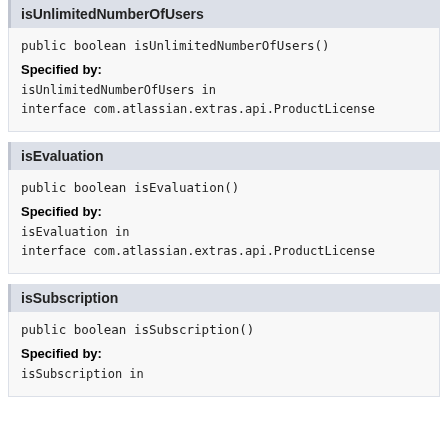isUnlimitedNumberOfUsers
public boolean isUnlimitedNumberOfUsers()
Specified by:
isUnlimitedNumberOfUsers in interface com.atlassian.extras.api.ProductLicense
isEvaluation
public boolean isEvaluation()
Specified by:
isEvaluation in interface com.atlassian.extras.api.ProductLicense
isSubscription
public boolean isSubscription()
Specified by:
isSubscription in